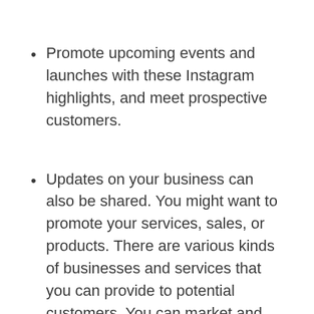Promote upcoming events and launches with these Instagram highlights, and meet prospective customers.
Updates on your business can also be shared. You might want to promote your services, sales, or products. There are various kinds of businesses and services that you can provide to potential customers. You can market and advertise these services easily.